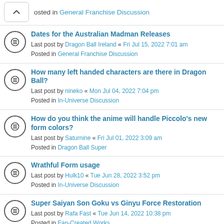posted in General Franchise Discussion
Dates for the Australian Madman Releases
Last post by Dragon Ball Ireland « Fri Jul 15, 2022 7:01 am
Posted in General Franchise Discussion
How many left handed characters are there in Dragon Ball?
Last post by nineko « Mon Jul 04, 2022 7:04 pm
Posted in In-Universe Discussion
How do you think the anime will handle Piccolo's new form colors?
Last post by Saturnine « Fri Jul 01, 2022 3:09 am
Posted in Dragon Ball Super
Wrathful Form usage
Last post by Hulk10 « Tue Jun 28, 2022 3:52 pm
Posted in In-Universe Discussion
Super Saiyan Son Goku vs Ginyu Force Restoration
Last post by Rafa Fast « Tue Jun 14, 2022 10:38 pm
Posted in Fan-Created Works
DB Heroes Music feels more "Dragon Ball" Than Super?
Last post by PrinceVegetto « Wed Jun 08, 2022 2:49 pm
Posted in Music